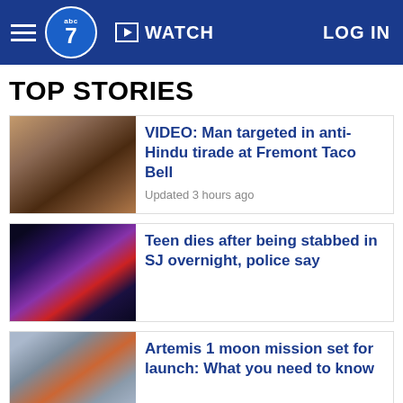abc7 | WATCH | LOG IN
TOP STORIES
[Figure (photo): Man photographed in what appears to be a restaurant or store setting]
VIDEO: Man targeted in anti-Hindu tirade at Fremont Taco Bell
Updated 3 hours ago
[Figure (photo): Police car with blue and red lights flashing at night]
Teen dies after being stabbed in SJ overnight, police say
[Figure (photo): Rocket on launch pad, Artemis 1 moon mission]
Artemis 1 moon mission set for launch: What you need to know
3 found dead in Oakland; police looking for answers
Kangaroos fight on camera at Australia nature preserve